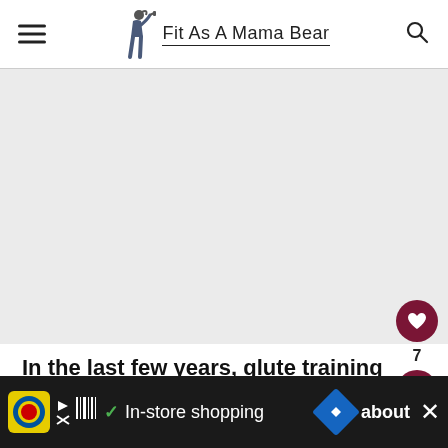Fit As A Mama Bear
[Figure (photo): Large hero image area, light gray background, photograph placeholder of fitness content]
In the last few years, glute training has taken priority for all lower body work (I... about
[Figure (screenshot): Advertisement bar at bottom: Lidl In-store shopping ad with yellow logo, green checkmark, blue navigation diamond, and close button]